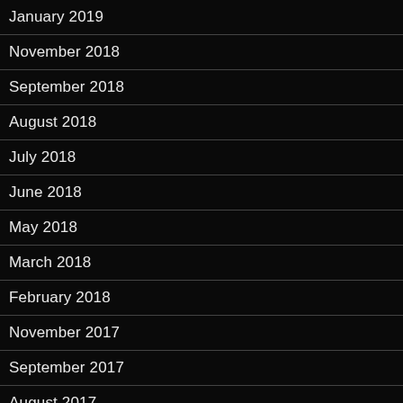January 2019
November 2018
September 2018
August 2018
July 2018
June 2018
May 2018
March 2018
February 2018
November 2017
September 2017
August 2017
July 2017